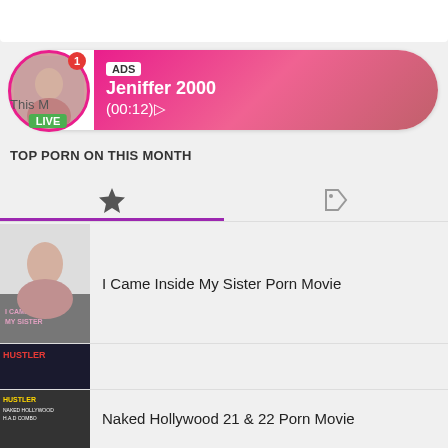[Figure (screenshot): Top banner area (partial, clipped at top)]
[Figure (infographic): Ad bar showing live user Jeniffer 2000 with avatar, LIVE badge, ADS label, and timer (00:12)]
This M
TOP PORN ON THIS MONTH
[Figure (infographic): Tabs: star icon (active, with purple underline) and tag icon]
I Came Inside My Sister Porn Movie
This Ain't Die Hard XXX 3D Porn Movie
Naked Hollywood 21 & 22 Porn Movie